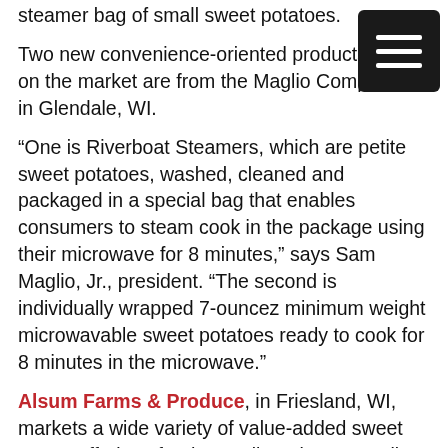steamer bag of small sweet potatoes.
Two new convenience-oriented products now on the market are from the Maglio Companies, in Glendale, WI.
“One is Riverboat Steamers, which are petite sweet potatoes, washed, cleaned and packaged in a special bag that enables consumers to steam cook in the package using their microwave for 8 minutes,” says Sam Maglio, Jr., president. “The second is individually wrapped 7-ouncez minimum weight microwavable sweet potatoes ready to cook for 8 minutes in the microwave.”
Alsum Farms & Produce, in Friesland, WI, markets a wide variety of value-added sweet potato offerings for the retail market, according to Christine Lindner, in sales. These include a 6-ounce Microwave Sweet Singles, a sweet potato that is washed and ready to microwave, which was debuted in 2010. In 2014, the company introduced a three-pack Sweet Potato Griller, with individually-wrapped, ready-to-grill sweet potatoes, and a